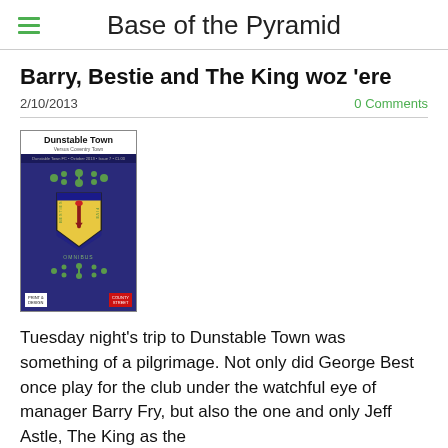Base of the Pyramid
Barry, Bestie and The King woz 'ere
2/10/2013
0 Comments
[Figure (photo): Dunstable Town football programme cover with club crest on purple background]
Tuesday night's trip to Dunstable Town was something of a pilgrimage. Not only did George Best once play for the club under the watchful eye of manager Barry Fry, but also the one and only Jeff Astle, The King as the